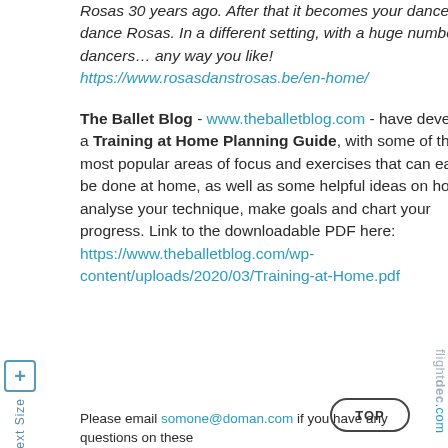Rosas 30 years ago. After that it becomes your dance: you dance Rosas. In a different setting, with a huge number of dancers… any way you like! https://www.rosasdanstrosas.be/en-home/
The Ballet Blog - www.theballetblog.com - have developed a Training at Home Planning Guide, with some of their most popular areas of focus and exercises that can easily be done at home, as well as some helpful ideas on how to analyse your technique, make goals and chart your progress. Link to the downloadable PDF here: https://www.theballetblog.com/wp-content/uploads/2020/03/Training-at-Home.pdf
Please email someone@domain.com if you have any questions on these…